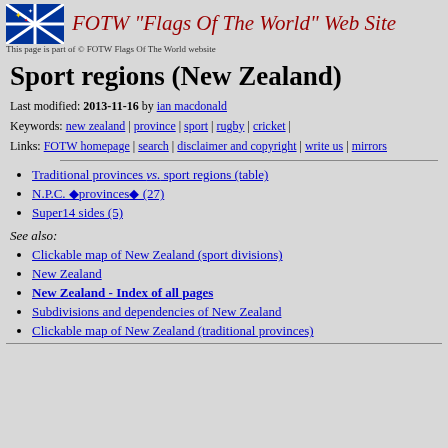FOTW "Flags Of The World" Web Site
This page is part of © FOTW Flags Of The World website
Sport regions (New Zealand)
Last modified: 2013-11-16 by ian macdonald
Keywords: new zealand | province | sport | rugby | cricket |
Links: FOTW homepage | search | disclaimer and copyright | write us | mirrors
Traditional provinces vs. sport regions (table)
N.P.C. ◆provinces◆ (27)
Super14 sides (5)
See also:
Clickable map of New Zealand (sport divisions)
New Zealand
New Zealand - Index of all pages
Subdivisions and dependencies of New Zealand
Clickable map of New Zealand (traditional provinces)